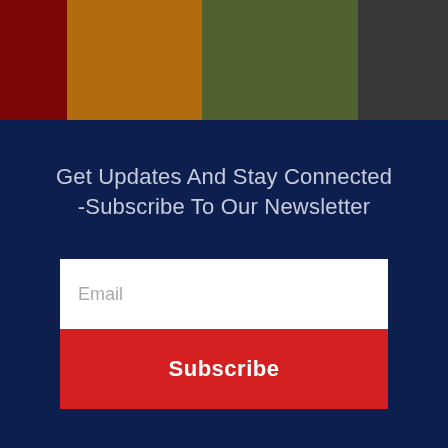[Figure (photo): Photo strip showing people in costumes — red costume on left, yellow/brown costume in center, green costume on right, dark figure on far right]
Get Updates And Stay Connected -Subscribe To Our Newsletter
Email
Subscribe
[Figure (photo): Partial view of a person at the bottom of the page on a light grey background]